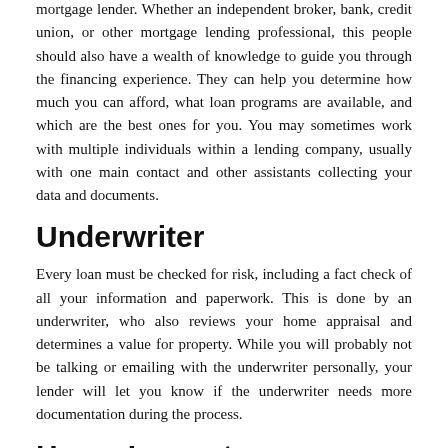mortgage lender. Whether an independent broker, bank, credit union, or other mortgage lending professional, this people should also have a wealth of knowledge to guide you through the financing experience. They can help you determine how much you can afford, what loan programs are available, and which are the best ones for you. You may sometimes work with multiple individuals within a lending company, usually with one main contact and other assistants collecting your data and documents.
Underwriter
Every loan must be checked for risk, including a fact check of all your information and paperwork. This is done by an underwriter, who also reviews your home appraisal and determines a value for property. While you will probably not be talking or emailing with the underwriter personally, your lender will let you know if the underwriter needs more documentation during the process.
Home Inspector
Your mo...